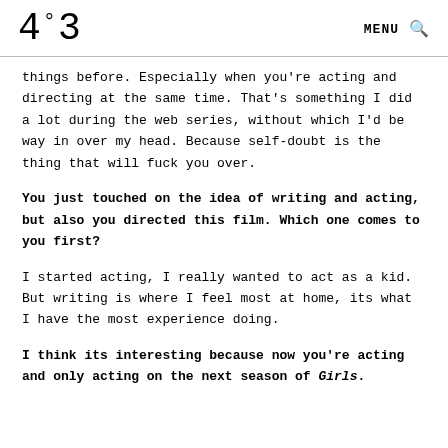4:°:3  MENU 🔍
things before. Especially when you're acting and directing at the same time. That's something I did a lot during the web series, without which I'd be way in over my head. Because self-doubt is the thing that will fuck you over.
You just touched on the idea of writing and acting, but also you directed this film. Which one comes to you first?
I started acting, I really wanted to act as a kid. But writing is where I feel most at home, its what I have the most experience doing.
I think its interesting because now you're acting and only acting on the next season of Girls.